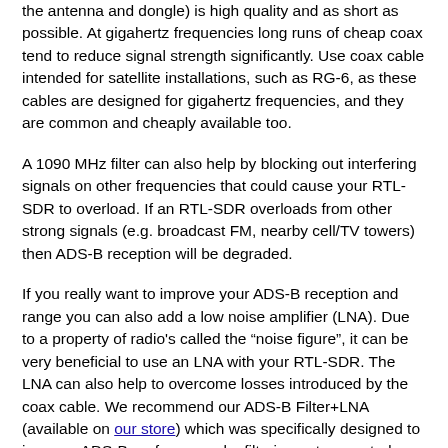the antenna and dongle) is high quality and as short as possible. At gigahertz frequencies long runs of cheap coax tend to reduce signal strength significantly. Use coax cable intended for satellite installations, such as RG-6, as these cables are designed for gigahertz frequencies, and they are common and cheaply available too.
A 1090 MHz filter can also help by blocking out interfering signals on other frequencies that could cause your RTL-SDR to overload. If an RTL-SDR overloads from other strong signals (e.g. broadcast FM, nearby cell/TV towers) then ADS-B reception will be degraded.
If you really want to improve your ADS-B reception and range you can also add a low noise amplifier (LNA). Due to a property of radio's called the "noise figure", it can be very beneficial to use an LNA with your RTL-SDR. The LNA can also help to overcome losses introduced by the coax cable. We recommend our ADS-B Filter+LNA (available on our store) which was specifically designed to improve ADS-B performance by filtering out unwanted interfering signals, and by reducing the noise figure and amplifying the ADS-B signals.
Using a powered USB extension cable and placing the dongle close to the